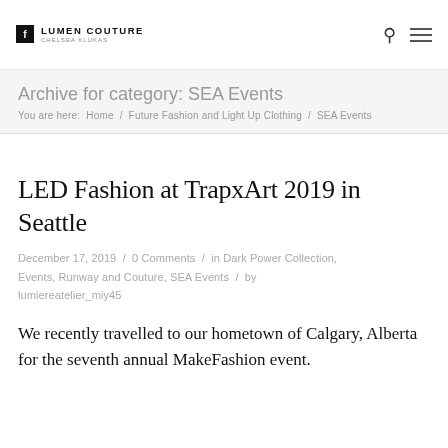LUMEN COUTURE CHELSEA KLUKAS
Archive for category: SEA Events
You are here:  Home  /  Future Fashion and Light Up Clothing  /  SEA Events
LED Fashion at TrapxArt 2019 in Seattle
December 17, 2019  /  0 Comments  /  in Dark Power Collection, Events, Runway and Couture, SEA Events  /  by lumiereatelier_miy45
We recently travelled to our hometown of Calgary, Alberta for the seventh annual MakeFashion event.